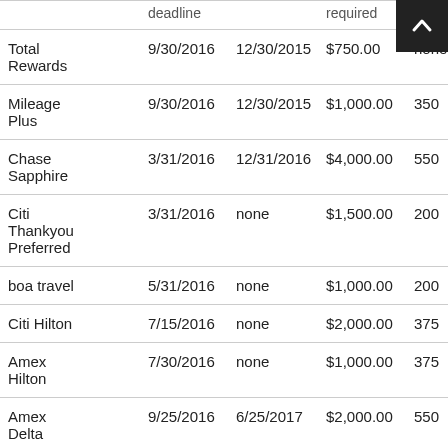|  | deadline |  | required | $ |
| --- | --- | --- | --- | --- |
| Total Rewards | 9/30/2016 | 12/30/2015 | $750.00 | none |
| Mileage Plus | 9/30/2016 | 12/30/2015 | $1,000.00 | 350 |
| Chase Sapphire | 3/31/2016 | 12/31/2016 | $4,000.00 | 550 |
| Citi Thankyou Preferred | 3/31/2016 | none | $1,500.00 | 200 |
| boa travel | 5/31/2016 | none | $1,000.00 | 200 |
| Citi Hilton | 7/15/2016 | none | $2,000.00 | 375 |
| Amex Hilton | 7/30/2016 | none | $1,000.00 | 375 |
| Amex Delta | 9/25/2016 | 6/25/2017 | $2,000.00 | 550 |